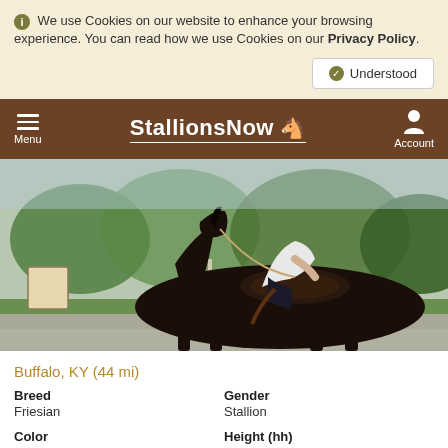We use Cookies on our website to enhance your browsing experience. You can read how we use Cookies on our Privacy Policy.
StallionsNow — Menu | Account
[Figure (photo): Dark brown/black Friesian stallion being ridden by a person in riding attire, photographed outdoors with green trees and rural landscape in background.]
Buffalo, KY (44 mi)
Breed
Friesian
Gender
Stallion
Color
Height (hh)